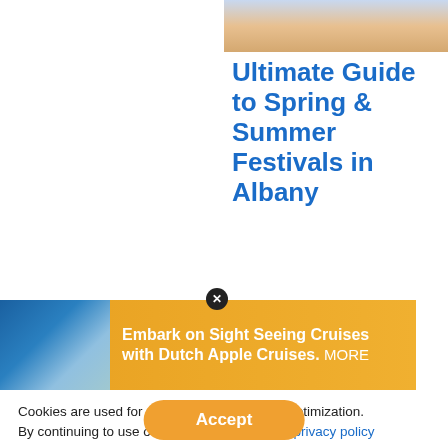[Figure (photo): Partial view of people's legs walking on a beach, cropped at the top of the page in the right column]
Ultimate Guide to Spring & Summer Festivals in Albany
[Figure (photo): Advertisement banner: boat on water with orange background, text reads 'Embark on Sight Seeing Cruises with Dutch Apple Cruises. MORE']
Cookies are used for measurement, ads and optimization. By continuing to use our site you agree to our privacy policy .
Accept